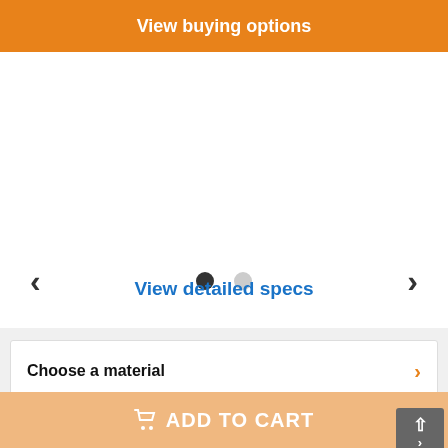View buying options
8" Outer Diameter
[Figure (other): Product image carousel with navigation arrows and two indicator dots (one filled, one empty)]
View detailed specs
Choose a material
Choose a quantity
ADD TO CART